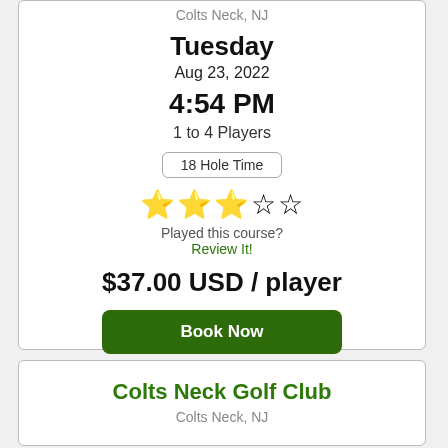Colts Neck, NJ
Tuesday
Aug 23, 2022
4:54 PM
1 to 4 Players
18 Hole Time
[Figure (other): Star rating showing 3 out of 5 stars (3 gold stars, 1 half gold, 1 empty)]
Played this course?
Review It!
$37.00 USD / player
Book Now
Colts Neck Golf Club
Colts Neck, NJ